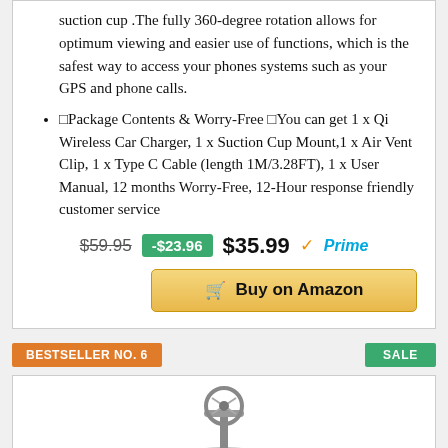suction cup .The fully 360-degree rotation allows for optimum viewing and easier use of functions, which is the safest way to access your phones systems such as your GPS and phone calls.
Package Contents & Worry-Free You can get 1 x Qi Wireless Car Charger, 1 x Suction Cup Mount,1 x Air Vent Clip, 1 x Type C Cable (length 1M/3.28FT), 1 x User Manual, 12 months Worry-Free, 12-Hour response friendly customer service
$59.95  -$23.96  $35.99 Prime
Buy on Amazon
BESTSELLER NO. 6
SALE
[Figure (photo): Product image of a car phone mount/stand, partially visible at bottom of page]